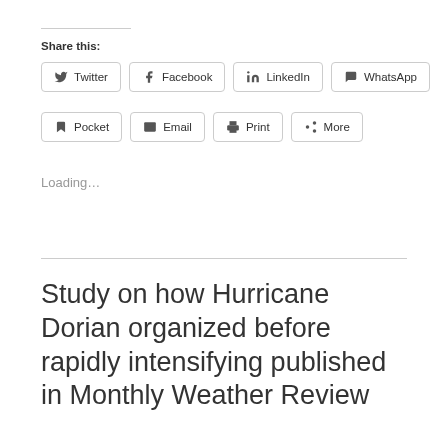Share this:
Twitter  Facebook  LinkedIn  WhatsApp  Pocket  Email  Print  More
Loading…
Study on how Hurricane Dorian organized before rapidly intensifying published in Monthly Weather Review